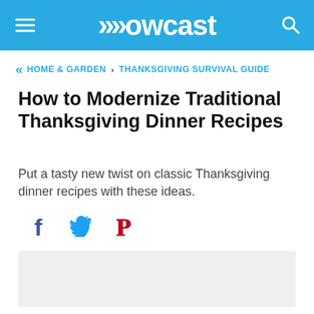Howcast
HOME & GARDEN > THANKSGIVING SURVIVAL GUIDE
How to Modernize Traditional Thanksgiving Dinner Recipes
Put a tasty new twist on classic Thanksgiving dinner recipes with these ideas.
[Figure (other): Social sharing icons: Facebook, Twitter, Pinterest]
[Figure (other): Video placeholder area (light gray rectangle)]